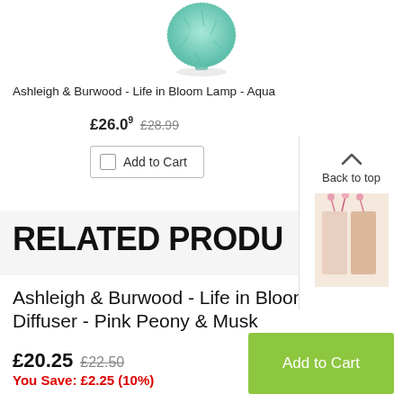[Figure (photo): Teal/aqua mosaic glass fragrance lamp, rounded vase shape, on white background]
Ashleigh & Burwood - Life in Bloom Lamp - Aqua
£26.09 £28.99
Add to Cart
Back to top
[Figure (photo): Thumbnail of reed diffuser product with pink flower stems in glass vessel]
RELATED PRODU
Ashleigh & Burwood - Life in Bloom Reed Diffuser - Pink Peony & Musk
£20.25 £22.50
You Save: £2.25 (10%)
Add to Cart